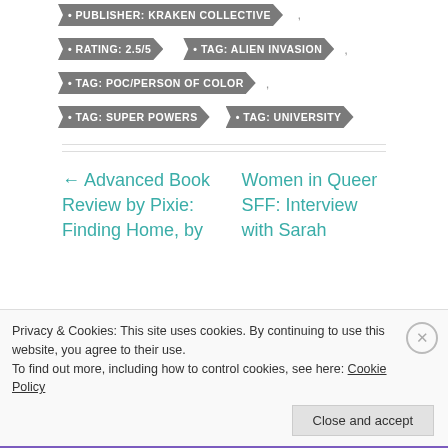• PUBLISHER: KRAKEN COLLECTIVE
• RATING: 2.5/5
• TAG: ALIEN INVASION
• TAG: POC/PERSON OF COLOR
• TAG: SUPER POWERS
• TAG: UNIVERSITY
← Advanced Book Review by Pixie: Finding Home, by
Women in Queer SFF: Interview with Sarah
Privacy & Cookies: This site uses cookies. By continuing to use this website, you agree to their use.
To find out more, including how to control cookies, see here: Cookie Policy
Close and accept